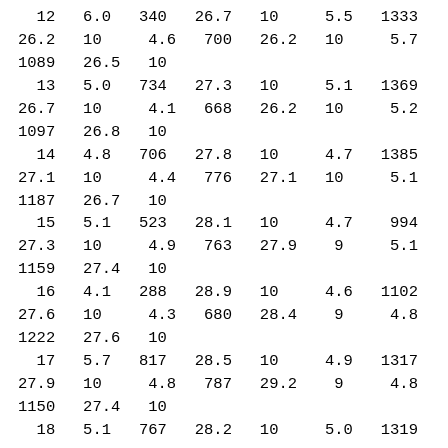| 12 | 6.0 | 340 | 26.7 | 10 | 5.5 | 1333 |
| 26.2 | 10 | 4.6 | 700 | 26.2 | 10 | 5.7 |
| 1089 | 26.5 | 10 |  |  |  |  |
| 13 | 5.0 | 734 | 27.3 | 10 | 5.1 | 1369 |
| 26.7 | 10 | 4.1 | 668 | 26.2 | 10 | 5.2 |
| 1097 | 26.8 | 10 |  |  |  |  |
| 14 | 4.8 | 706 | 27.8 | 10 | 4.7 | 1385 |
| 27.1 | 10 | 4.4 | 776 | 27.1 | 10 | 5.1 |
| 1187 | 26.7 | 10 |  |  |  |  |
| 15 | 5.1 | 523 | 28.1 | 10 | 4.7 | 994 |
| 27.3 | 10 | 4.9 | 763 | 27.9 | 9 | 5.1 |
| 1159 | 27.4 | 10 |  |  |  |  |
| 16 | 4.1 | 288 | 28.9 | 10 | 4.6 | 1102 |
| 27.6 | 10 | 4.3 | 680 | 28.4 | 9 | 4.8 |
| 1222 | 27.6 | 10 |  |  |  |  |
| 17 | 5.7 | 817 | 28.5 | 10 | 4.9 | 1317 |
| 27.9 | 10 | 4.8 | 787 | 29.2 | 9 | 4.8 |
| 1150 | 27.4 | 10 |  |  |  |  |
| 18 | 5.1 | 767 | 28.2 | 10 | 5.0 | 1319 |